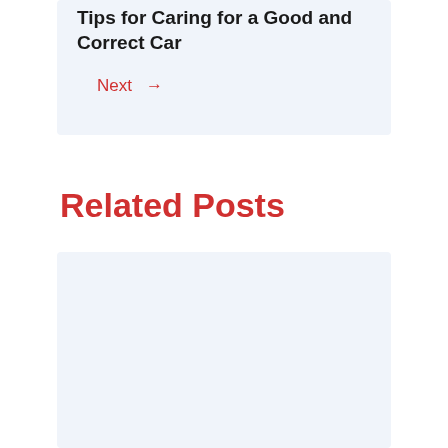Tips for Caring for a Good and Correct Car
Next →
Related Posts
[Figure (other): Light blue placeholder card for a related post]